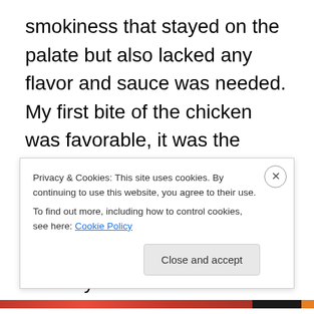smokiness that stayed on the palate but also lacked any flavor and sauce was needed. My first bite of the chicken was favorable, it was the moistest of the three meats, but that was limited to the original piece. The other pieces were dry and again, the only flavor was smoke. The other issue with all of the sandwiches was the amount of bread compared to meat. Take together it was a mouthful of bread with a little meat. I finally removed the top bun and ate each open-faced. The sliders were served with a small cup of horseradish sauce, which was full of flavor, but I have no idea why it was included.
Privacy & Cookies: This site uses cookies. By continuing to use this website, you agree to their use.
To find out more, including how to control cookies, see here: Cookie Policy